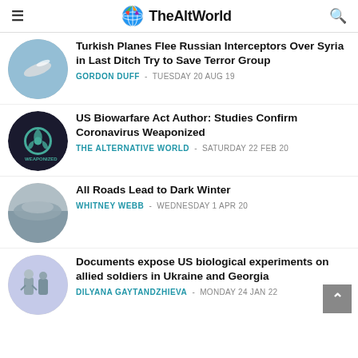TheAltWorld
Turkish Planes Flee Russian Interceptors Over Syria in Last Ditch Try to Save Terror Group — GORDON DUFF - TUESDAY 20 AUG 19
US Biowarfare Act Author: Studies Confirm Coronavirus Weaponized — THE ALTERNATIVE WORLD - SATURDAY 22 FEB 20
All Roads Lead to Dark Winter — WHITNEY WEBB - WEDNESDAY 1 APR 20
Documents expose US biological experiments on allied soldiers in Ukraine and Georgia — DILYANA GAYTANDZHIEVA - MONDAY 24 JAN 22